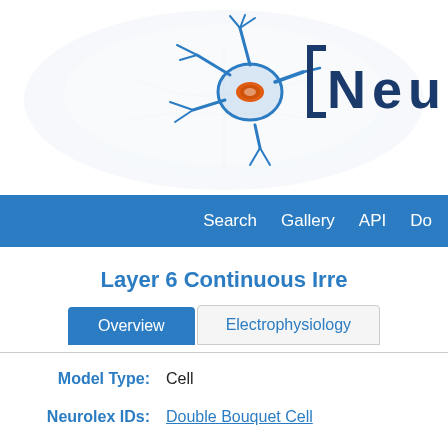[Figure (logo): NeuroLex website header with neuron logo (blue neuron with orange nucleus) and partial text 'Neu' in dark blue bracket style font, on a light background with faint brain watermark]
Search   Gallery   API   Do
Layer 6 Continuous Irre
Overview   Electrophysiology
Model Type: Cell
Neurolex IDs: Double Bouquet Cell